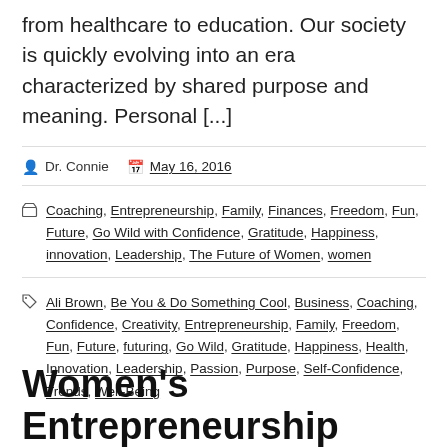from healthcare to education. Our society is quickly evolving into an era characterized by shared purpose and meaning. Personal [...]
Dr. Connie   May 16, 2016
Coaching, Entrepreneurship, Family, Finances, Freedom, Fun, Future, Go Wild with Confidence, Gratitude, Happiness, innovation, Leadership, The Future of Women, women
Ali Brown, Be You & Do Something Cool, Business, Coaching, Confidence, Creativity, Entrepreneurship, Family, Freedom, Fun, Future, futuring, Go Wild, Gratitude, Happiness, Health, Innovation, Leadership, Passion, Purpose, Self-Confidence, Trends, Well-Being
Women's Entrepreneurship